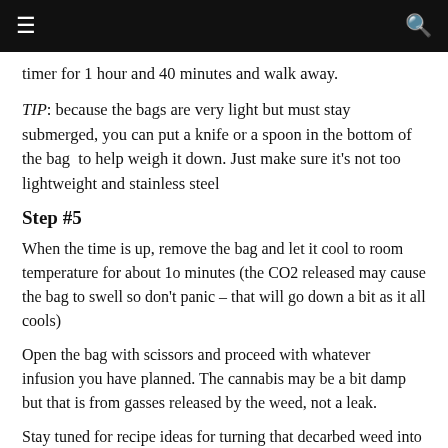≡  🔍
timer for 1 hour and 40 minutes and walk away.
TIP: because the bags are very light but must stay submerged, you can put a knife or a spoon in the bottom of the bag  to help weigh it down. Just make sure it's not too lightweight and stainless steel
Step #5
When the time is up, remove the bag and let it cool to room temperature for about 1o minutes (the CO2 released may cause the bag to swell so don't panic – that will go down a bit as it all cools)
Open the bag with scissors and proceed with whatever infusion you have planned. The cannabis may be a bit damp but that is from gasses released by the weed, not a leak.
Stay tuned for recipe ideas for turning that decarbed weed into all manners of fats, mocktails, flavoured milk for nighty night tea, dulce de leche, bitters and more.